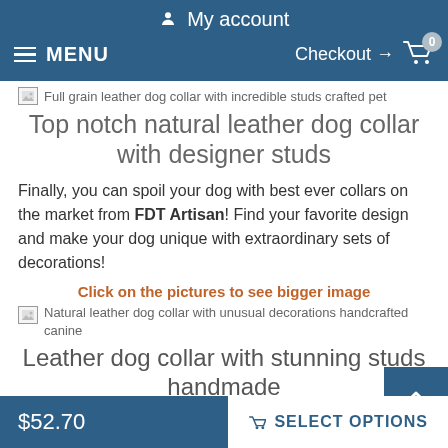My account
MENU  Checkout → 0
[Figure (photo): Broken image placeholder for Full grain leather dog collar with incredible studs crafted pet]
Top notch natural leather dog collar with designer studs
Finally, you can spoil your dog with best ever collars on the market from FDT Artisan! Find your favorite design and make your dog unique with extraordinary sets of decorations!
Click on the pictures to see bigger image
[Figure (photo): Broken image placeholder for Natural leather dog collar with unusual decorations handcrafted canine]
Leather dog collar with stunning studs handmade canine
$52.70   SELECT OPTIONS